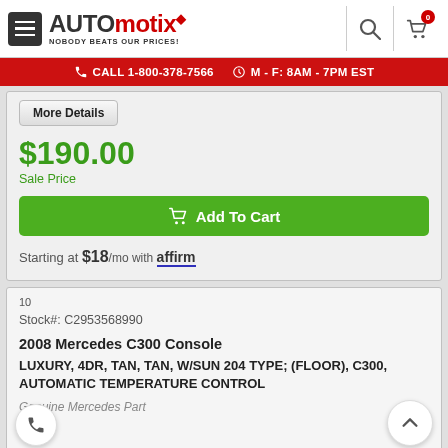AUTOmotix — NOBODY BEATS OUR PRICES!
CALL 1-800-378-7566   M - F: 8AM - 7PM EST
More Details
$190.00
Sale Price
Add To Cart
Starting at $18/mo with affirm
10
Stock#: C2953568990
2008 Mercedes C300 Console
LUXURY, 4DR, TAN, TAN, W/SUN 204 TYPE; (FLOOR), C300, AUTOMATIC TEMPERATURE CONTROL
Genuine Mercedes Part